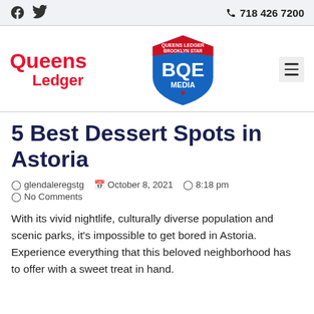718 426 7200
[Figure (logo): BQE Media shield logo with Queens Ledger Brooklyn Star text]
5 Best Dessert Spots in Astoria
glendaleregstg  October 8, 2021  8:18 pm  No Comments
With its vivid nightlife, culturally diverse population and scenic parks, it's impossible to get bored in Astoria. Experience everything that this beloved neighborhood has to offer with a sweet treat in hand.